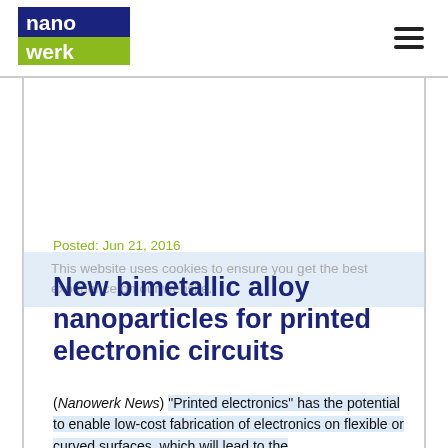nanowerk [logo] [hamburger menu]
Posted: Jun 21, 2016
New bimetallic alloy nanoparticles for printed electronic circuits
This website uses cookies to ensure you get the best experience on our website.
(Nanowerk News) “Printed electronics” has the potential to enable low-cost fabrication of electronics on flexible or curved surfaces, which will lead to the